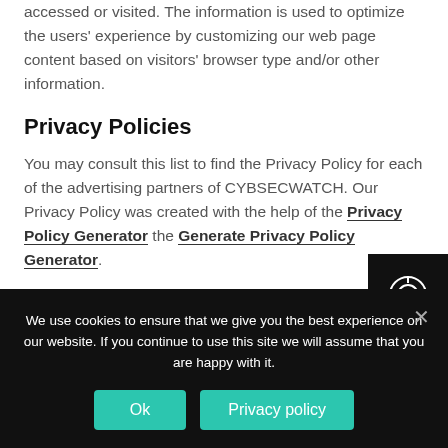accessed or visited. The information is used to optimize the users' experience by customizing our web page content based on visitors' browser type and/or other information.
Privacy Policies
You may consult this list to find the Privacy Policy for each of the advertising partners of CYBSECWATCH. Our Privacy Policy was created with the help of the Privacy Policy Generator the Generate Privacy Policy Generator.
Third-party ad servers or ad networks uses technologies like cookies, JavaScript, or Web Beacons that are used in their
We use cookies to ensure that we give you the best experience on our website. If you continue to use this site we will assume that you are happy with it.